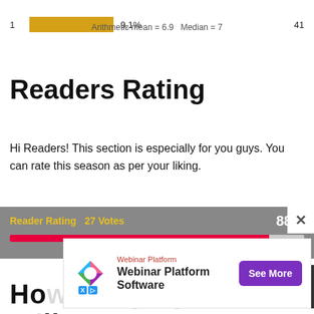[Figure (bar-chart): Partial bar chart row showing rating 1 with 9.1% bar and value 41]
Arithmetic mean = 6.9   Median = 7
Readers Rating
Hi Readers! This section is especially for you guys. You can rate this season as per your liking.
[Figure (infographic): Reader Rating widget showing 27 Votes and 88% with red progress bar]
[Figure (infographic): Advertisement overlay for Webinar Platform Software with See More button]
How Many Episodes Will